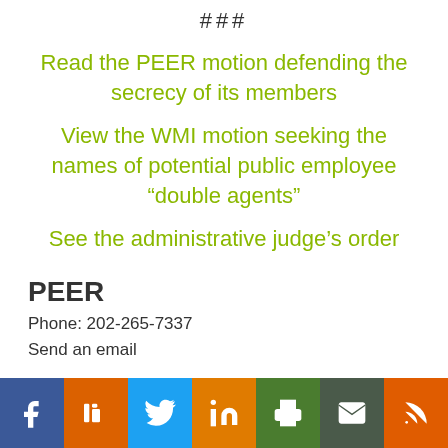###
Read the PEER motion defending the secrecy of its members
View the WMI motion seeking the names of potential public employee “double agents”
See the administrative judge’s order
PEER
Phone: 202-265-7337
Send an email
[Figure (other): SUBSCRIBE button with envelope icon, dark teal rounded rectangle]
[Figure (other): Social media share bar with Facebook, Digg, Twitter, LinkedIn, Print, Email, RSS icons]